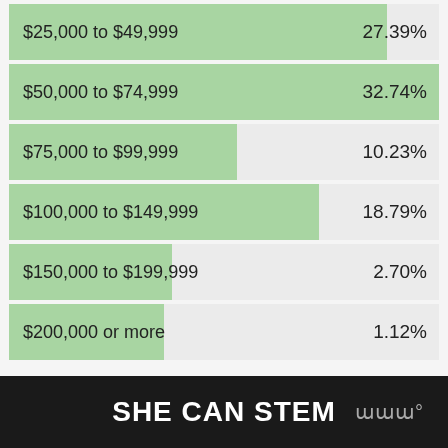[Figure (bar-chart): Income distribution (She Can STEM)]
SHE CAN STEM